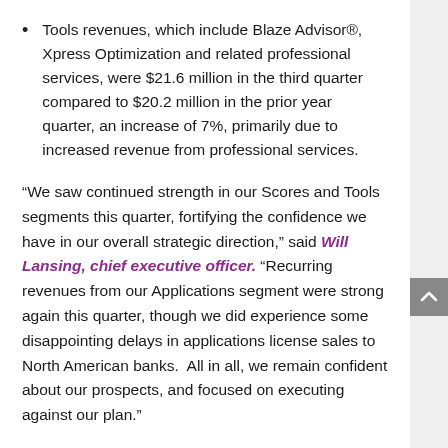Tools revenues, which include Blaze Advisor®, Xpress Optimization and related professional services, were $21.6 million in the third quarter compared to $20.2 million in the prior year quarter, an increase of 7%, primarily due to increased revenue from professional services.
“We saw continued strength in our Scores and Tools segments this quarter, fortifying the confidence we have in our overall strategic direction,” said Will Lansing, chief executive officer. “Recurring revenues from our Applications segment were strong again this quarter, though we did experience some disappointing delays in applications license sales to North American banks.  All in all, we remain confident about our prospects, and focused on executing against our plan.”